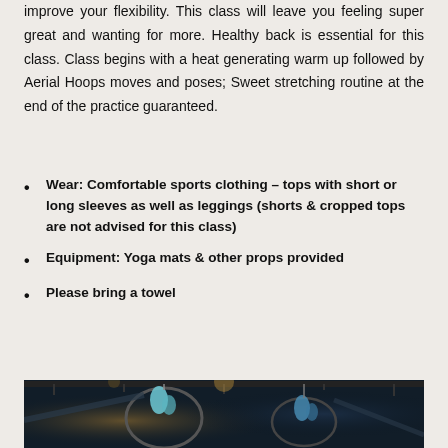improve your flexibility. This class will leave you feeling super great and wanting for more. Healthy back is essential for this class. Class begins with a heat generating warm up followed by Aerial Hoops moves and poses; Sweet stretching routine at the end of the practice guaranteed.
Wear: Comfortable sports clothing – tops with short or long sleeves as well as leggings (shorts & cropped tops are not advised for this class)
Equipment: Yoga mats & other props provided
Please bring a towel
[Figure (photo): Dark photograph showing aerial hoop (lyra) apparatus with performers/fabric in a dark studio setting with stage lighting]